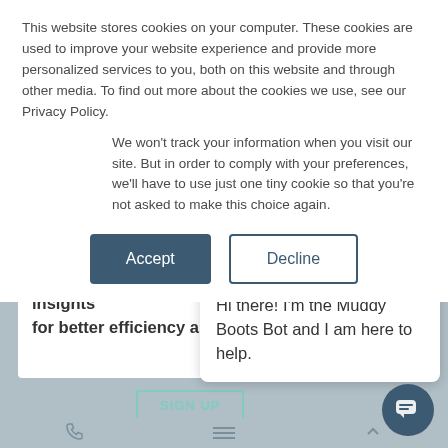This website stores cookies on your computer. These cookies are used to improve your website experience and provide more personalized services to you, both on this website and through other media. To find out more about the cookies we use, see our Privacy Policy.
We won't track your information when you visit our site. But in order to comply with your preferences, we'll have to use just one tiny cookie so that you're not asked to make this choice again.
Accept
Decline
digital solutions and data insights for better efficiency a
[Figure (screenshot): Muddy Boots chatbot popup with logo, close button, and message: Hi there! I'm the Muddy Boots Bot and I am here to help.]
Hi there! I'm the Muddy Boots Bot and I am here to help.
SIGN UP